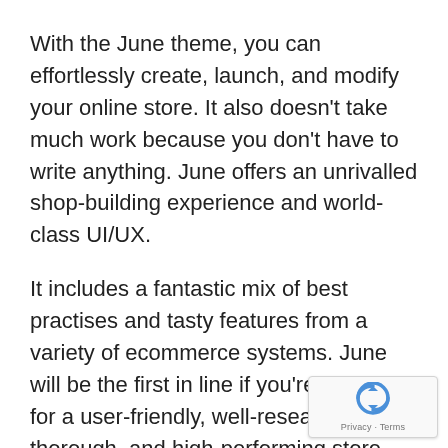With the June theme, you can effortlessly create, launch, and modify your online store. It also doesn't take much work because you don't have to write anything. June offers an unrivalled shop-building experience and world-class UI/UX.
It includes a fantastic mix of best practises and tasty features from a variety of ecommerce systems. June will be the first in line if you're looking for a user-friendly, well-researched, thorough, and high-performing store building solution.
Features:
Ajax search
[Figure (logo): reCAPTCHA badge with Google logo and Privacy · Terms text]